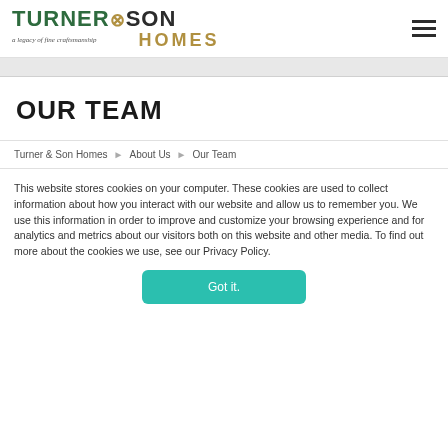[Figure (logo): Turner & Son Homes logo with tagline 'a legacy of fine craftsmanship']
OUR TEAM
Turner & Son Homes > About Us > Our Team
This website stores cookies on your computer. These cookies are used to collect information about how you interact with our website and allow us to remember you. We use this information in order to improve and customize your browsing experience and for analytics and metrics about our visitors both on this website and other media. To find out more about the cookies we use, see our Privacy Policy.
Got it.